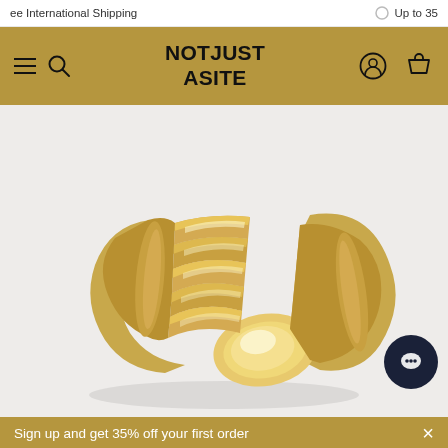ee International Shipping    Up to 35
[Figure (logo): NotJustASite logo in gold navigation bar with hamburger menu, search icon, user icon, and cart icon]
[Figure (photo): Gold open-band ring with twisted/ribbed texture and oval signet top, photographed on a light grey background]
Sign up and get 35% off your first order